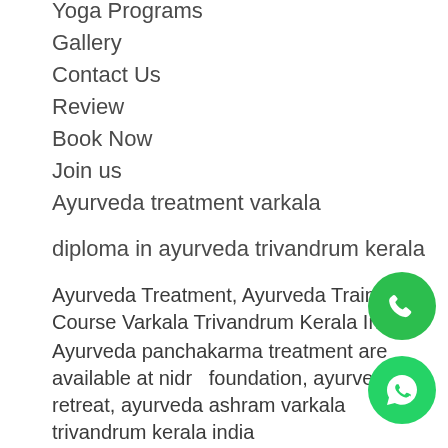Yoga Programs
Gallery
Contact Us
Review
Book Now
Join us
Ayurveda treatment varkala
diploma in ayurveda trivandrum kerala
Ayurveda Treatment, Ayurveda Training Course Varkala Trivandrum Kerala India
Ayurveda panchakarma treatment are available at nidra foundation, ayurveda retreat, ayurveda ashram varkala trivandrum kerala india
Ayurveda therapy training course Trivandrum Kerala India
Massage course varkala Trivandrum Kerala India
Under the guidance of well experienced ayurveda therapist